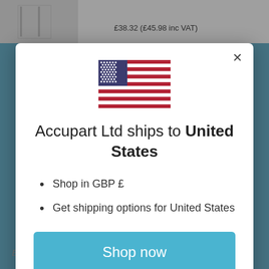[Figure (screenshot): Background e-commerce page screenshot showing product price £38.32 (£45.98 inc VAT) and an email input field at the bottom]
[Figure (illustration): US flag SVG illustration inside modal dialog]
Accupart Ltd ships to United States
Shop in GBP £
Get shipping options for United States
Shop now
Change shipping country